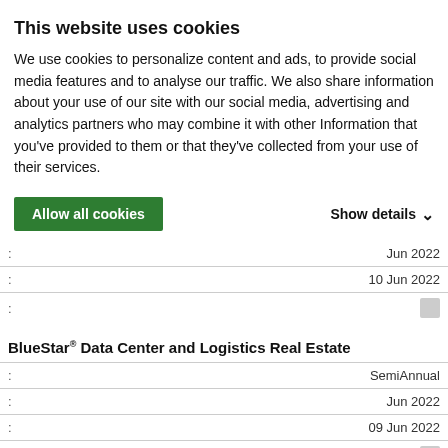This website uses cookies
We use cookies to personalize content and ads, to provide social media features and to analyse our traffic. We also share information about your use of our site with our social media, advertising and analytics partners who may combine it with other Information that you've provided to them or that they've collected from your use of their services.
Allow all cookies | Show details
| : | value |
| --- | --- |
| : | Jun 2022 |
| : | 10 Jun 2022 |
| : |  |
BlueStar® Data Center and Logistics Real Estate
| : | value |
| --- | --- |
| : | SemiAnnual |
| : | Jun 2022 |
| : | 09 Jun 2022 |
| : |  |
BlueStar® Data Center and Logistics Real Estate